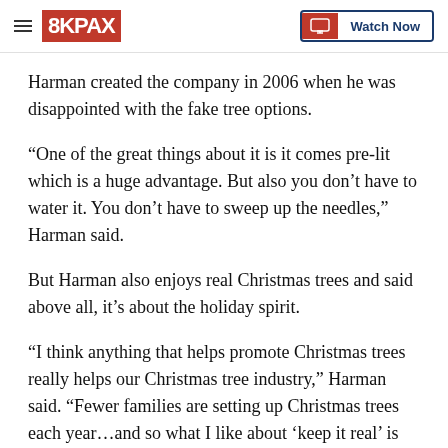8KPAX | Watch Now
Harman created the company in 2006 when he was disappointed with the fake tree options.
“One of the great things about it is it comes pre-lit which is a huge advantage. But also you don’t have to water it. You don’t have to sweep up the needles,” Harman said.
But Harman also enjoys real Christmas trees and said above all, it’s about the holiday spirit.
“I think anything that helps promote Christmas trees really helps our Christmas tree industry,” Harman said. “Fewer families are setting up Christmas trees each year…and so what I like about ‘keep it real’ is it’s